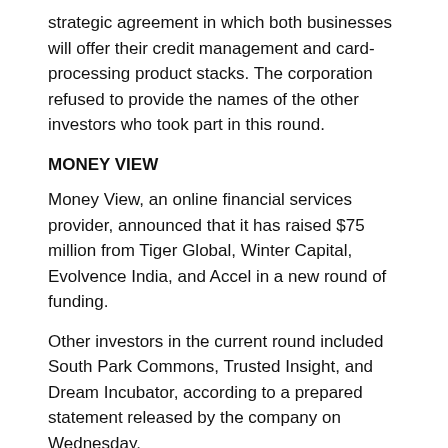strategic agreement in which both businesses will offer their credit management and card-processing product stacks. The corporation refused to provide the names of the other investors who took part in this round.
MONEY VIEW
Money View, an online financial services provider, announced that it has raised $75 million from Tiger Global, Winter Capital, Evolvence India, and Accel in a new round of funding.
Other investors in the current round included South Park Commons, Trusted Insight, and Dream Incubator, according to a prepared statement released by the company on Wednesday.
The new fundraise has increased the company's valuation to $625 million. The new money will be used to scale the core credit business, develop the workforce, and expand the company's product line with services such as digital bank accounts, insurance, and wealth management solutions, according to the company.